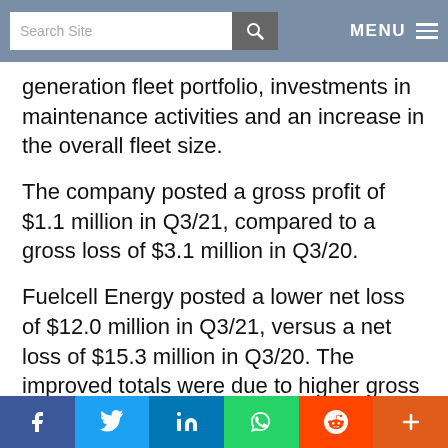Search Site | MENU
generation fleet portfolio, investments in maintenance activities and an increase in the overall fleet size.
The company posted a gross profit of $1.1 million in Q3/21, compared to a gross loss of $3.1 million in Q3/20.
Fuelcell Energy posted a lower net loss of $12.0 million in Q3/21, versus a net loss of $15.3 million in Q3/20. The improved totals were due to higher gross margins and lower interest expenses from borrowings under the
f  Twitter  in  WhatsApp  Reddit  +